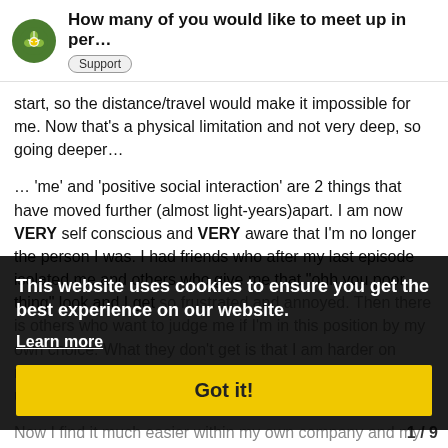How many of you would like to meet up in per…  Support
start, so the distance/travel would make it impossible for me. Now that's a physical limitation and not very deep, so going deeper…

… 'me' and 'positive social interaction' are 2 things that have moved further (almost light-years)apart. I am now VERY self conscious and VERY aware that I'm no longer the person I was. I had friends who after my last episode isolated me and others who give me that "ohh you poor thing" look and I get so frustrated and annoyed. Then there is others who want to judge me if I'm in this position by my own choice. What they don't get is that I am harder on myself than they will ever be. I can berate and beat myself up much worse than is even possible for them.

Now I find it much easier within my own company and my wife's. She's the only one who actually sees me at my worst and has some sort of comprehension of the reality of all of this. As I've said before I used to arrange to be able to interact and now I have a m
This website uses cookies to ensure you get the best experience on our website.
Learn more
Got it!
1 / 9